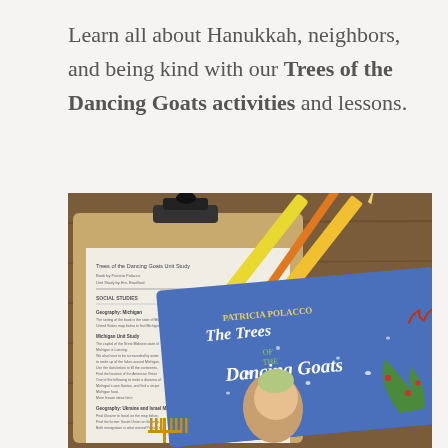Learn all about Hanukkah, neighbors, and being kind with our Trees of the Dancing Goats activities and lessons.
[Figure (photo): A photo of a clipboard with a 'Trees of the Dancing Goats Unit Study' worksheet, alongside a yellow highlighter and orange pencil on a wooden table, and the book 'The Trees of the Dancing Goats' by Patricia Polacco in the foreground.]